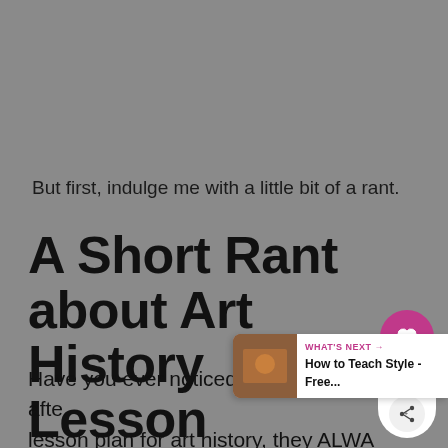But first, indulge me with a little bit of a rant.
A Short Rant about Art History Lesson Plans
Have you ever noticed that in lesson plan after lesson plan for art history, they ALWAYS with "explain the art history to the students?"
[Figure (other): Social sharing widget with heart icon button (pink), count 2.5K, and share icon]
[Figure (other): What's Next banner showing 'How to Teach Style - Free...' with thumbnail image]